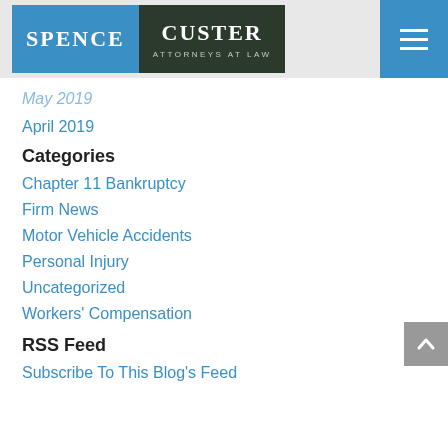[Figure (logo): Spence Custer Attorneys at Law logo with blue and dark green panels]
May 2019
April 2019
Categories
Chapter 11 Bankruptcy
Firm News
Motor Vehicle Accidents
Personal Injury
Uncategorized
Workers' Compensation
RSS Feed
Subscribe To This Blog's Feed